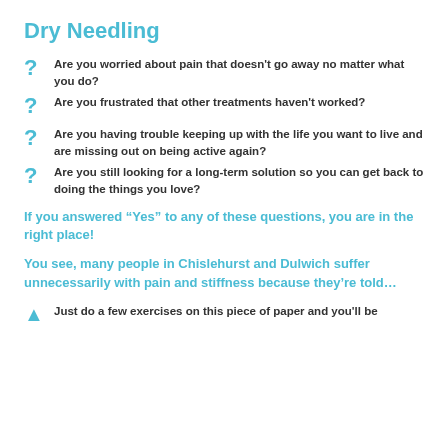Dry Needling
Are you worried about pain that doesn't go away no matter what you do?
Are you frustrated that other treatments haven't worked?
Are you having trouble keeping up with the life you want to live and are missing out on being active again?
Are you still looking for a long-term solution so you can get back to doing the things you love?
If you answered “Yes” to any of these questions, you are in the right place!
You see, many people in Chislehurst and Dulwich suffer unnecessarily with pain and stiffness because they’re told…
Just do a few exercises on this piece of paper and you'll be